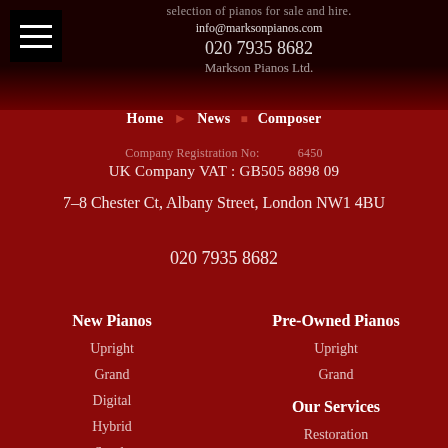selection of pianos for sale and hire. info@marksonpianos.com 020 7935 8682 Markson Pianos Ltd.
Home | News | Composer
Company Registration No: ...6450
UK Company VAT : GB505 8898 09
7-8 Chester Ct, Albany Street, London NW1 4BU
020 7935 8682
New Pianos
Upright
Grand
Digital
Hybrid
Stools
Pre-Owned Pianos
Upright
Grand
Our Services
Restoration